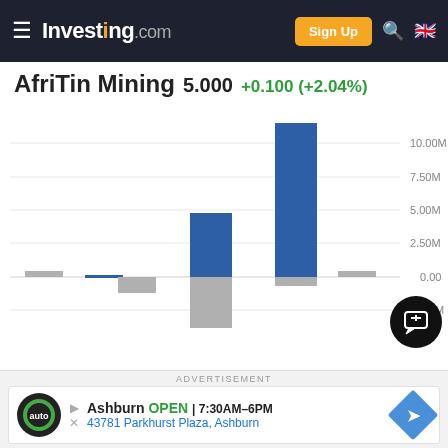Investing.com
AfriTin Mining 5.000 +0.100 (+2.04%)
[Figure (bar-chart): AfriTin Mining Volume Chart]
ADVERTISEMENT
Ashburn OPEN 7:30AM–6PM 43781 Parkhurst Plaza, Ashburn